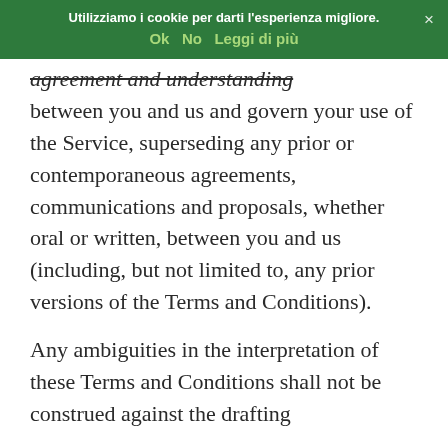Utilizziamo i cookie per darti l'esperienza migliore. Ok No Leggi di più
agreement and understanding between you and us and govern your use of the Service, superseding any prior or contemporaneous agreements, communications and proposals, whether oral or written, between you and us (including, but not limited to, any prior versions of the Terms and Conditions).
Any ambiguities in the interpretation of these Terms and Conditions shall not be construed against the drafting